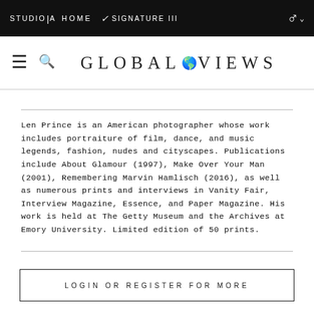STUDIO|A  HOME  SIGNATURE III
[Figure (logo): Global Views logo with hamburger menu and search icon]
Len Prince is an American photographer whose work includes portraiture of film, dance, and music legends, fashion, nudes and cityscapes. Publications include About Glamour (1997), Make Over Your Man (2001), Remembering Marvin Hamlisch (2016), as well as numerous prints and interviews in Vanity Fair, Interview Magazine, Essence, and Paper Magazine. His work is held at The Getty Museum and the Archives at Emory University. Limited edition of 50 prints.
LOGIN OR REGISTER FOR MORE